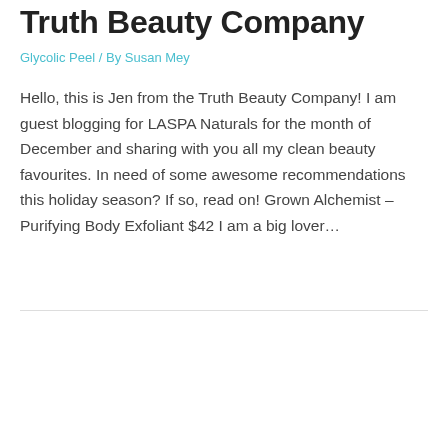Truth Beauty Company
Glycolic Peel / By Susan Mey
Hello, this is Jen from the Truth Beauty Company! I am guest blogging for LASPA Naturals for the month of December and sharing with you all my clean beauty favourites. In need of some awesome recommendations this holiday season? If so, read on! Grown Alchemist – Purifying Body Exfoliant $42 I am a big lover…